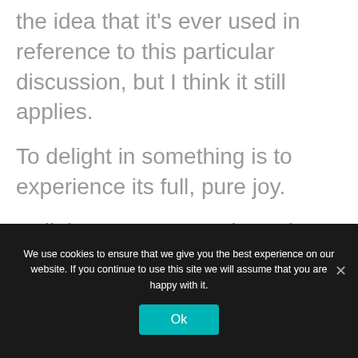the idea that it's ever used in reference to this particular discussion, but I think it still applies.
To delight in something is to experience its full, pure joy.
Delight says no to rush, and yes to appreciation.
We use cookies to ensure that we give you the best experience on our website. If you continue to use this site we will assume that you are happy with it.